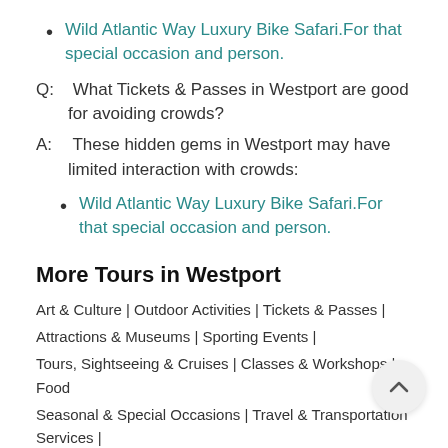Wild Atlantic Way Luxury Bike Safari.For that special occasion and person.
Q:  What Tickets & Passes in Westport are good for avoiding crowds?
A:  These hidden gems in Westport may have limited interaction with crowds:
Wild Atlantic Way Luxury Bike Safari.For that special occasion and person.
More Tours in Westport
Art & Culture | Outdoor Activities | Tickets & Passes |
Attractions & Museums | Sporting Events |
Tours, Sightseeing & Cruises | Classes & Workshops | Food
Seasonal & Special Occasions | Travel & Transportation Services |